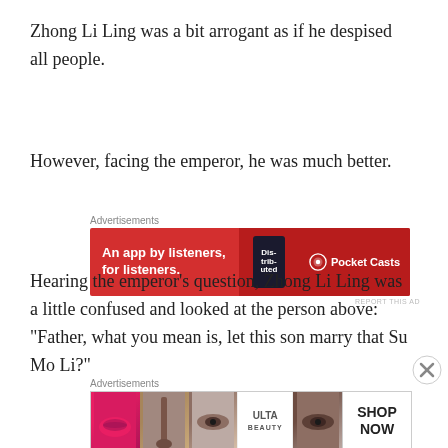Zhong Li Ling was a bit arrogant as if he despised all people.
However, facing the emperor, he was much better.
[Figure (other): Pocket Casts advertisement banner: red background, 'An app by listeners, for listeners.' with phone graphic and Pocket Casts logo]
Hearing the emperor's question, Zhong Li Ling was a little confused and looked at the person above: "Father, what you mean is, let this son marry that Su Mo Li?"
[Figure (other): ULTA Beauty advertisement banner with makeup/beauty product images and 'SHOP NOW' call to action]